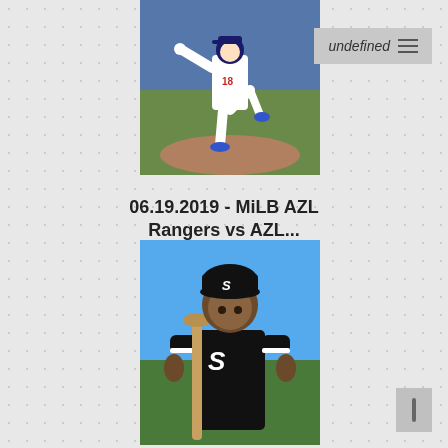[Figure (photo): Baseball pitcher in white Dodgers uniform (#18) in mid-pitch motion on a baseball field]
undefined ☰
06.19.2019 - MiLB AZL Rangers vs AZL...
198 images
[Figure (photo): Baseball player in black Chicago White Sox uniform holding a bat, posed for portrait against blue sky background]